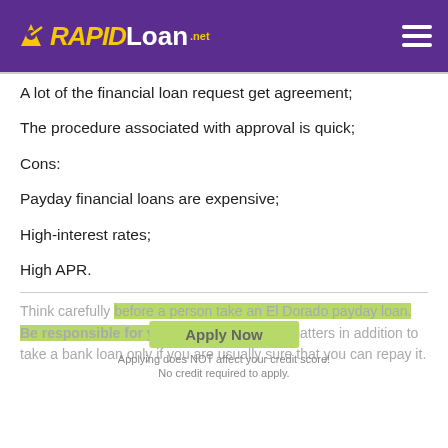RAPIDLoan.net
A lot of the financial loan request get agreement;
The procedure associated with approval is quick;
Cons:
Payday financial loans are expensive;
High-interest rates;
High APR.
Think carefully before a person take an El Dorado payday loan. Be responsible for your current financial matters in addition to take a bank loan only if you are usually sure that you can repay it.